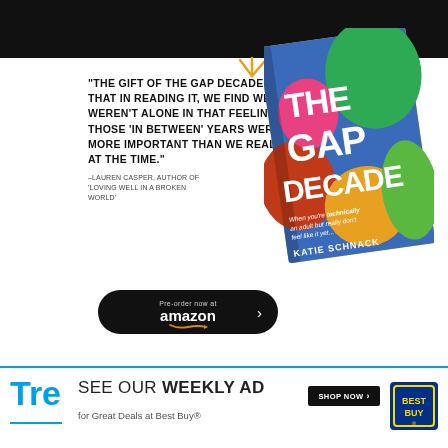[Figure (illustration): Black header bar at the top of the page]
[Figure (illustration): IVP publisher logo with red wave lines above the letters 'ivp']
"THE GIFT OF THE GAP DECADE IS THAT IN READING IT, WE FIND WE WEREN'T ALONE IN THAT FEELING AND THOSE 'IN BETWEEN' YEARS WERE MORE IMPORTANT THAN WE REALIZED AT THE TIME."
–LAUREN CASPER, AUTHOR OF 'LOVING WELL IN A BROKEN WORLD'
[Figure (illustration): Book cover of 'The Gap Decade' by Katie Schnack with colorful abstract art design, subtitle: 'When you're technically an adult but really don't feel like it yet...']
[Figure (illustration): Golden sparkle/radiance lines near top of book cover]
[Figure (illustration): Pre-order now at Amazon button in black pill shape with arrow]
[Figure (illustration): Best Buy weekly ad banner at bottom: 'SEE OUR WEEKLY AD for Great Deals at Best Buy®' with SHOP NOW button and Best Buy logo]